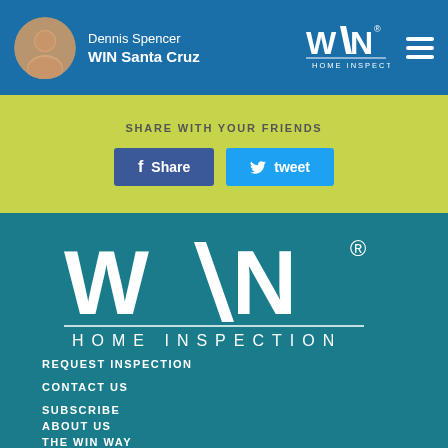Dennis Spencer
WIN Santa Cruz
[Figure (logo): WIN Home Inspection logo in header]
SHARE WITH YOUR FRIENDS
Share
tweet
[Figure (logo): WIN Home Inspection large logo on teal background]
REQUEST INSPECTION
CONTACT US
SUBSCRIBE
ABOUT US
THE WIN WAY